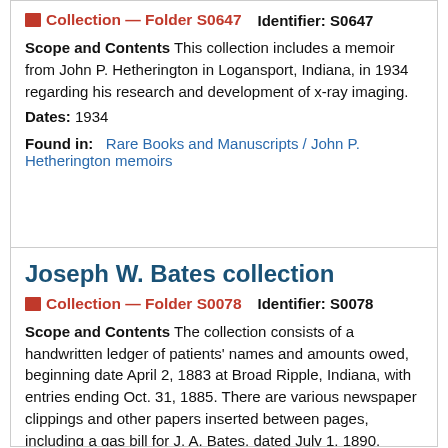Collection — Folder S0647   Identifier: S0647
Scope and Contents This collection includes a memoir from John P. Hetherington in Logansport, Indiana, in 1934 regarding his research and development of x-ray imaging.
Dates: 1934
Found in: Rare Books and Manuscripts / John P. Hetherington memoirs
Joseph W. Bates collection
Collection — Folder S0078   Identifier: S0078
Scope and Contents The collection consists of a handwritten ledger of patients' names and amounts owed, beginning date April 2, 1883 at Broad Ripple, Indiana, with entries ending Oct. 31, 1885. There are various newspaper clippings and other papers inserted between pages, including a gas bill for J. A. Bates, dated July 1, 1890.
Dates: 1883-1890
Found in: Rare Books and Manuscripts / Joseph W...